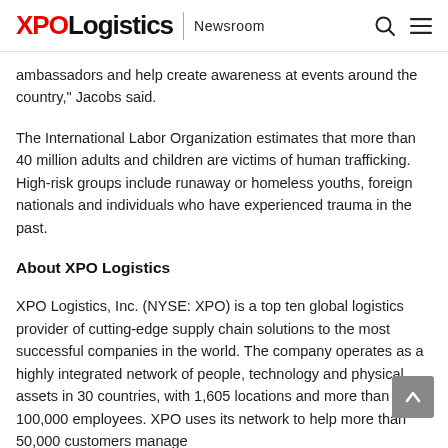XPO Logistics | Newsroom
ambassadors and help create awareness at events around the country," Jacobs said.
The International Labor Organization estimates that more than 40 million adults and children are victims of human trafficking. High-risk groups include runaway or homeless youths, foreign nationals and individuals who have experienced trauma in the past.
About XPO Logistics
XPO Logistics, Inc. (NYSE: XPO) is a top ten global logistics provider of cutting-edge supply chain solutions to the most successful companies in the world. The company operates as a highly integrated network of people, technology and physical assets in 30 countries, with 1,605 locations and more than 100,000 employees. XPO uses its network to help more than 50,000 customers manage